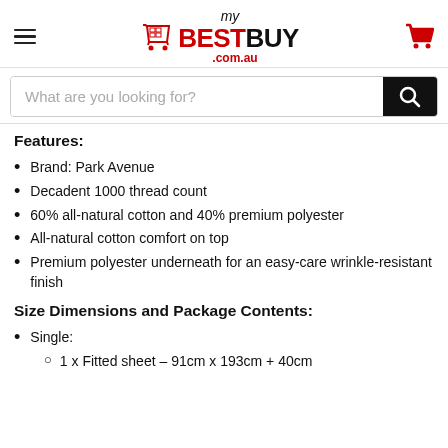[Figure (logo): myBestBuy.com.au logo with shopping cart icon, hamburger menu, and cart icon in header]
What are you looking for?
Features:
Brand: Park Avenue
Decadent 1000 thread count
60% all-natural cotton and 40% premium polyester
All-natural cotton comfort on top
Premium polyester underneath for an easy-care wrinkle-resistant finish
Size Dimensions and Package Contents:
Single:
1 x Fitted sheet – 91cm x 193cm + 40cm